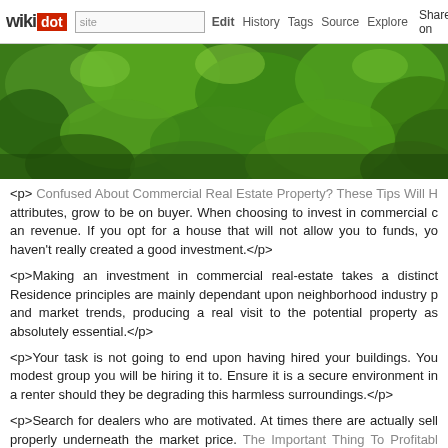wikidot | site | Edit | History | Tags | Source | Explore | Share on
[Figure (photo): Aerial or close-up photograph of dense green tree foliage canopy]
<p> Confused About Commercial Real Estate Property? These Tips Will Help attributes, grow to be on buyer. When choosing to invest in commercial c... an revenue. If you opt for a house that will not allow you to funds, yo... haven't really created a good investment.</p>
<p>Making an investment in commercial real-estate takes a distinct... Residence principles are mainly dependant upon neighborhood industry p... and market trends, producing a real visit to the potential property as absolutely essential.</p>
<p>Your task is not going to end upon having hired your buildings. You modest group you will be hiring it to. Ensure it is a secure environment in a renter should they be degrading this harmless surroundings.</p>
<p>Search for dealers who are motivated. At times there are actually sell... properly underneath the market price. The Important Thing To Profitabl... profits in actual real estate is if you find that great deal, so keep an eye ou...</p>
<p>Many people consider little condominium complexes more challengi... you are intending on investing in business condo attributes, specialists ad... 10 devices. Clearly every single circumstance is unique nevertheless, ho... simpler.</p>